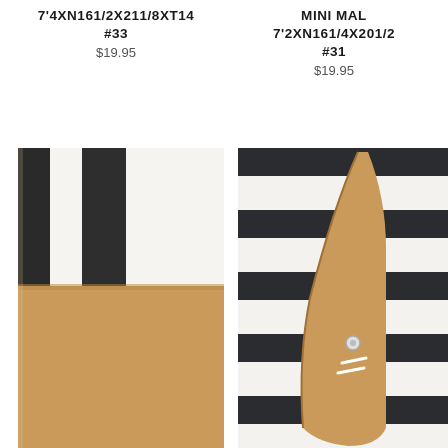7'4XN161/2X211/8XT14
#33
$19.95
MINI MAL
7'2XN161/4X201/2
#31
$19.95
[Figure (photo): Close-up photo of a surfboard (tan/brown bottom) leaning against a wall with black and white vertical stripes]
[Figure (photo): Photo of a tan/brown surfboard fin standing upright against a striped black and white background, with a vent plug visible]